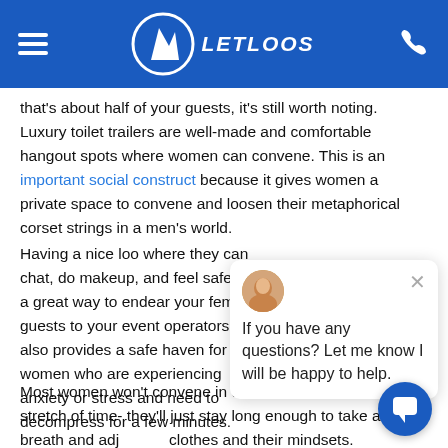LETLOOS — navigation header with hamburger menu, logo, and phone icon
that's about half of your guests, it's still worth noting. Luxury toilet trailers are well-made and comfortable hangout spots where women can convene. This is an important social construct because it gives women a private space to convene and loosen their metaphorical corset strings in a men's world.
Having a nice loo where they can chat, do makeup, and feel safe is a great way to endear your female guests to your event operators. It also provides a safe haven for women who are experiencing anxiety or stress and need to decompress for a few minutes.
If you have any questions? Let me know I will be happy to help.
Most women won't convene in the restroom for a long stretch of time- they'll just stay long enough to take a breath and adjust their clothes and their mindsets. Plus, since these discussions will happen in the common area of the portable loo rather than the